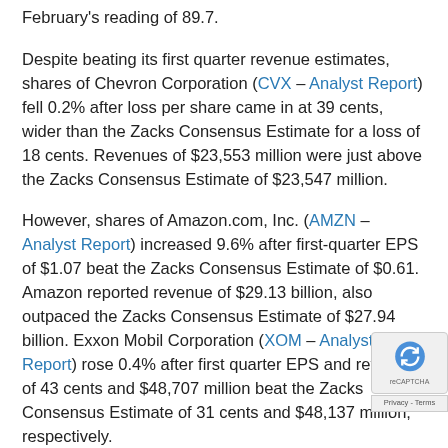February's reading of 89.7.
Despite beating its first quarter revenue estimates, shares of Chevron Corporation (CVX – Analyst Report) fell 0.2% after loss per share came in at 39 cents, wider than the Zacks Consensus Estimate for a loss of 18 cents. Revenues of $23,553 million were just above the Zacks Consensus Estimate of $23,547 million.
However, shares of Amazon.com, Inc. (AMZN – Analyst Report) increased 9.6% after first-quarter EPS of $1.07 beat the Zacks Consensus Estimate of $0.61. Amazon reported revenue of $29.13 billion, also outpaced the Zacks Consensus Estimate of $27.94 billion. Exxon Mobil Corporation (XOM – Analyst Report) rose 0.4% after first quarter EPS and revenues of 43 cents and $48,707 million beat the Zacks Consensus Estimate of 31 cents and $48,137 million, respectively.
Additionally, Monster Beverage Corporation's (MNST –